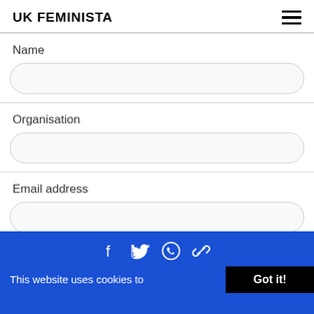UK FEMINISTA
Name
Organisation
Email address
This website uses cookies to